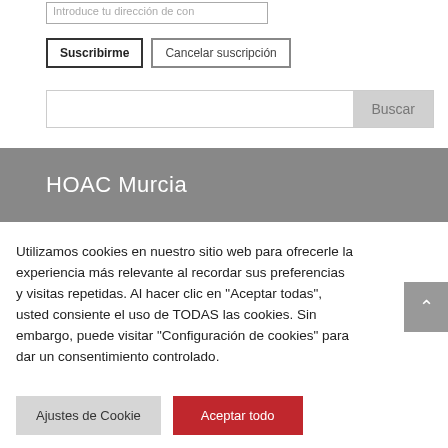Introduce tu dirección de con
Suscribirme   Cancelar suscripción
Buscar
HOAC Murcia
Utilizamos cookies en nuestro sitio web para ofrecerle la experiencia más relevante al recordar sus preferencias y visitas repetidas. Al hacer clic en "Aceptar todas", usted consiente el uso de TODAS las cookies. Sin embargo, puede visitar "Configuración de cookies" para dar un consentimiento controlado.
Ajustes de Cookie   Aceptar todo